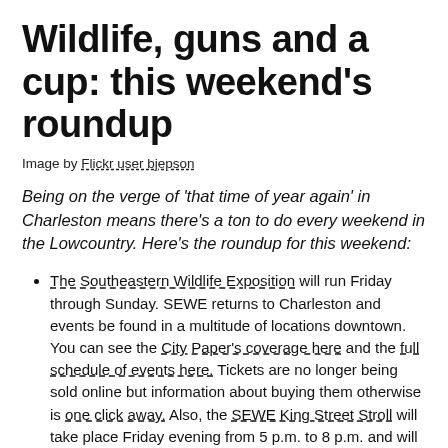Wildlife, guns and a cup: this weekend's roundup
Image by Flickr user bjepson
Being on the verge of 'that time of year again' in Charleston means there's a ton to do every weekend in the Lowcountry. Here's the roundup for this weekend:
The Southeastern Wildlife Exposition will run Friday through Sunday. SEWE returns to Charleston and events be found in a multitude of locations downtown. You can see the City Paper's coverage here and the full schedule of events here. Tickets are no longer being sold online but information about buying them otherwise is one click away. Also, the SEWE King Street Stroll will take place Friday evening from 5 p.m. to 8 p.m. and will include shopping, art and refreshments.
The Charleston Gun and Knife Show will be making its first of four appearances this year at the Zucker's Exhibition...